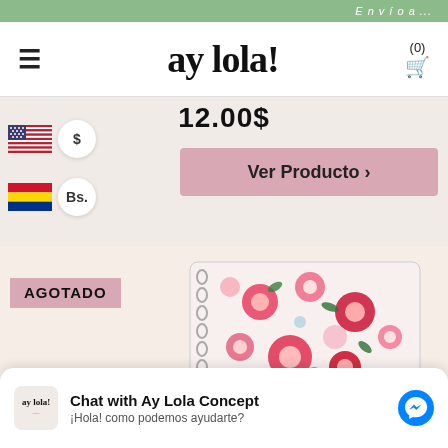Envío a...
[Figure (logo): Ay Lola! brand logo with hamburger menu and cart icon]
12.00$
[Figure (infographic): US Dollar flag selector with $ button]
[Figure (infographic): Venezuelan Bolivar flag selector with Bs. button]
Ver Producto >
AGOTADO
[Figure (photo): Spiral-bound notebook with colorful floral pattern cover in pink, red, orange and green flowers on white background]
Chat with Ay Lola Concept
¡Hola! como podemos ayudarte?